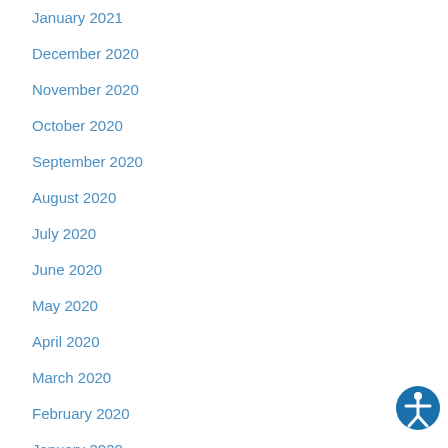January 2021
December 2020
November 2020
October 2020
September 2020
August 2020
July 2020
June 2020
May 2020
April 2020
March 2020
February 2020
January 2020
December 2019
[Figure (illustration): Accessibility icon: blue circle with white human figure with arms extended]